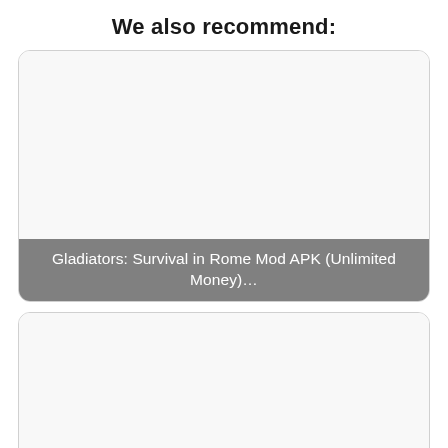We also recommend:
[Figure (screenshot): Card with blank white image area]
Gladiators: Survival in Rome Mod APK (Unlimited Money)…
[Figure (screenshot): Card with blank white image area]
Pixel Mage Survival Mod APK (Unlimited souls) 0.99.7.1